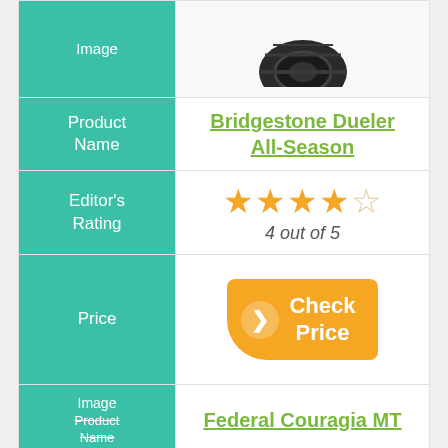[Figure (photo): Tire product image (top, partially visible)]
| Label | Value |
| --- | --- |
| Product Name | Bridgestone Dueler All-Season |
| Editor's Rating | 4 out of 5 |
| Price | Check Price |
| Image / Product Name | Federal Couragia MT |
| Editor's Rating | 5 out of 5 |
| Price | (partially visible) |